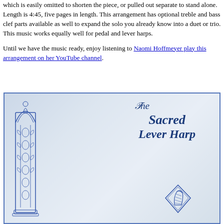which is easily omitted to shorten the piece, or pulled out separate to stand alone. Length is 4:45, five pages in length. This arrangement has optional treble and bass clef parts available as well to expand the solo you already know into a duet or trio. This music works equally well for pedal and lever harps.
Until we have the music ready, enjoy listening to Naomi Hoffmeyer play this arrangement on her YouTube channel.
[Figure (illustration): Book cover image for 'The Sacred Lever Harp' showing an ornate Gothic arch column on the left with decorative foliage patterns, and the title text 'The Sacred Lever Harp' in blue italic serif font on the right, with a small harp emblem below the text. The background is a mottled light blue-grey texture.]